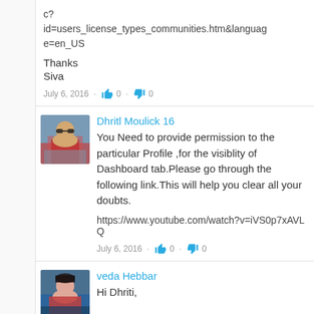c?
id=users_license_types_communities.htm&language=en_US

Thanks
Siva
July 6, 2016 · 👍 0 · 👎 0
Dhritl Moulick 16
You Need to provide permission to the particular Profile ,for the visiblity of Dashboard tab.Please go through the following link.This will help you clear all your doubts.

https://www.youtube.com/watch?v=iVS0p7xAVLQ
July 6, 2016 · 👍 0 · 👎 0
veda Hebbar
Hi Dhriti,